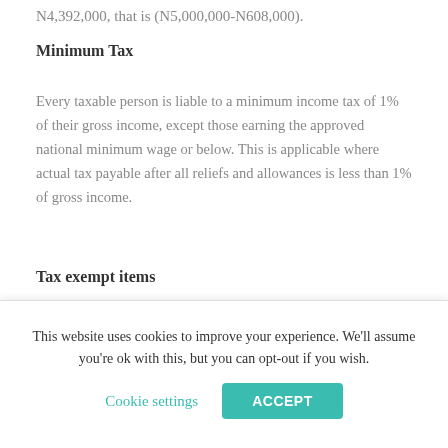N4,392,000, that is (N5,000,000-N608,000).
Minimum Tax
Every taxable person is liable to a minimum income tax of 1% of their gross income, except those earning the approved national minimum wage or below. This is applicable where actual tax payable after all reliefs and allowances is less than 1% of gross income.
Tax exempt items
Tax exempt items for PIT purpose include Pension
This website uses cookies to improve your experience. We'll assume you're ok with this, but you can opt-out if you wish.
Cookie settings
ACCEPT